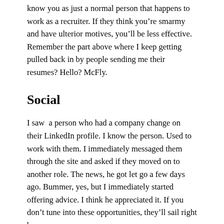know you as just a normal person that happens to work as a recruiter. If they think you're smarmy and have ulterior motives, you'll be less effective. Remember the part above where I keep getting pulled back in by people sending me their resumes? Hello? McFly.
Social
I saw  a person who had a company change on their LinkedIn profile. I know the person. Used to work with them. I immediately messaged them through the site and asked if they moved on to another role. The news, he got let go a few days ago. Bummer, yes, but I immediately started offering advice. I think he appreciated it. If you don't tune into these opportunities, they'll sail right by you.